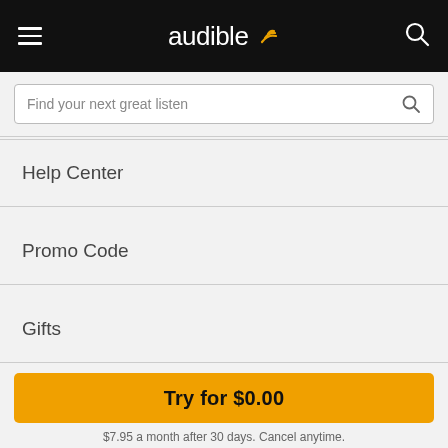[Figure (logo): Audible logo with orange signal icon on black navigation bar, with hamburger menu on left and search icon on right]
Find your next great listen
Help Center
Promo Code
Gifts
Conditions of Use | Privacy Policy | Interest-Based Ads | Cookies | Full Site
Try for $0.00
$7.95 a month after 30 days. Cancel anytime.